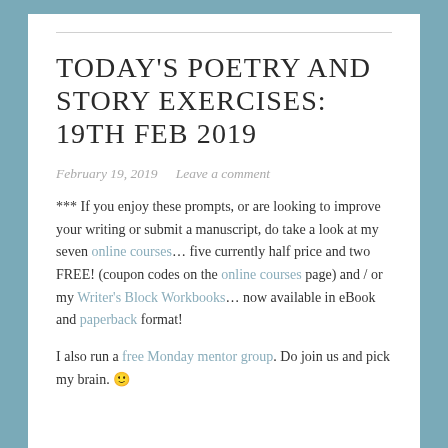TODAY'S POETRY AND STORY EXERCISES: 19TH FEB 2019
February 19, 2019   Leave a comment
*** If you enjoy these prompts, or are looking to improve your writing or submit a manuscript, do take a look at my seven online courses… five currently half price and two FREE! (coupon codes on the online courses page) and / or my Writer's Block Workbooks… now available in eBook and paperback format!
I also run a free Monday mentor group. Do join us and pick my brain. 🙂